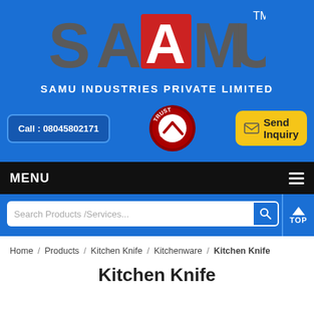[Figure (logo): SAAMU logo with red square containing white letter A, large grey S A M U letters on blue background, with TM superscript]
SAMU INDUSTRIES PRIVATE LIMITED
Call : 08045802171
[Figure (logo): Trust Stamp circular badge in red and dark colors]
Send Inquiry
MENU
Search Products /Services...
Home / Products / Kitchen Knife / Kitchenware / Kitchen Knife
Kitchen Knife